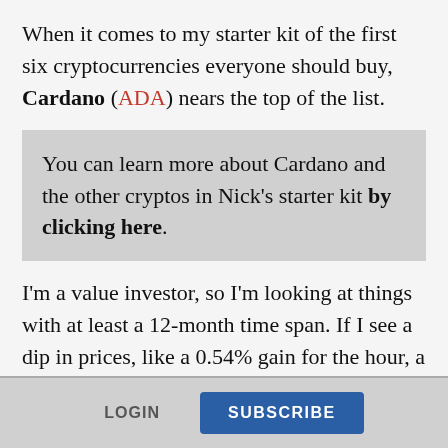When it comes to my starter kit of the first six cryptocurrencies everyone should buy, Cardano (ADA) nears the top of the list.
You can learn more about Cardano and the other cryptos in Nick's starter kit by clicking here.
I'm a value investor, so I'm looking at things with at least a 12-month time span. If I see a dip in prices, like a 0.54% gain for the hour, a 1.99% loss in the last 24 hours, or a 39.35% loss in the last 90 days, it doesn't worry me.
LOGIN   SUBSCRIBE